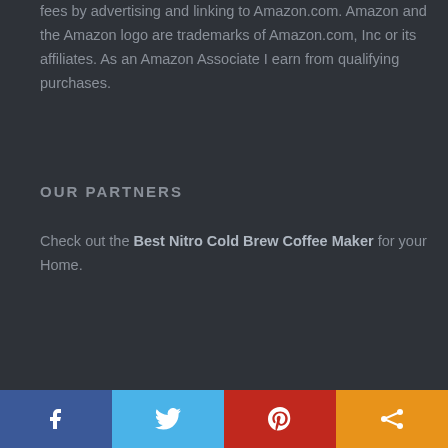fees by advertising and linking to Amazon.com. Amazon and the Amazon logo are trademarks of Amazon.com, Inc or its affiliates. As an Amazon Associate I earn from qualifying purchases.
OUR PARTNERS
Check out the Best Nitro Cold Brew Coffee Maker for your Home.
Social share bar with Facebook, Twitter, Pinterest, Share buttons